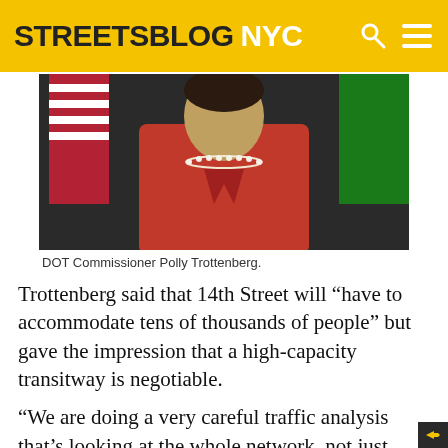STREETSBLOG NYC
[Figure (photo): Photo of DOT Commissioner Polly Trottenberg in a red jacket with a pearl necklace, with flags in the background.]
DOT Commissioner Polly Trottenberg.
Trottenberg said that 14th Street will “have to accommodate tens of thousands of people” but gave the impression that a high-capacity transitway is negotiable.
“We are doing a very careful traffic analysis that’s looking at the whole network, not just 14th Street, and trying to come up with a very balanced plan,” she said, “where there may be parts of 14th Street at